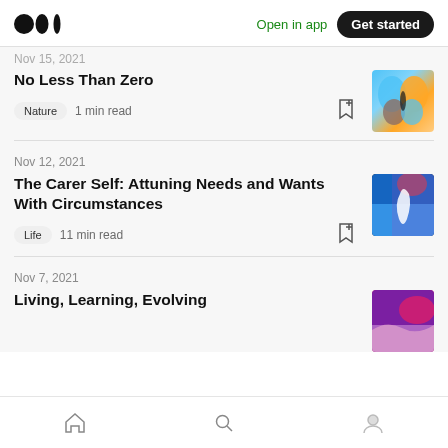Medium logo | Open in app | Get started
Nov 15, 2021
No Less Than Zero
Nature  1 min read
Nov 12, 2021
The Carer Self: Attuning Needs and Wants With Circumstances
Life  11 min read
Nov 7, 2021
Living, Learning, Evolving
Home | Search | Profile